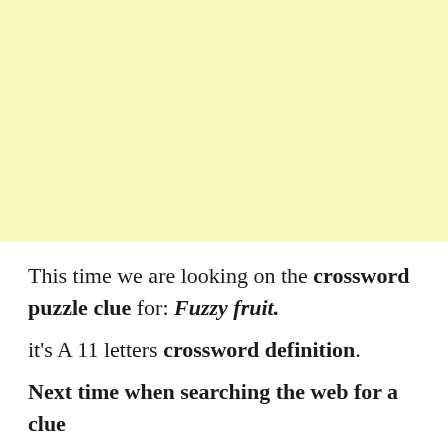[Figure (other): Yellow/cream colored rectangular background block filling the top portion of the page]
This time we are looking on the crossword puzzle clue for: Fuzzy fruit. it's A 11 letters crossword definition. Next time when searching the web for a clue
Next time when searching the web for a clue